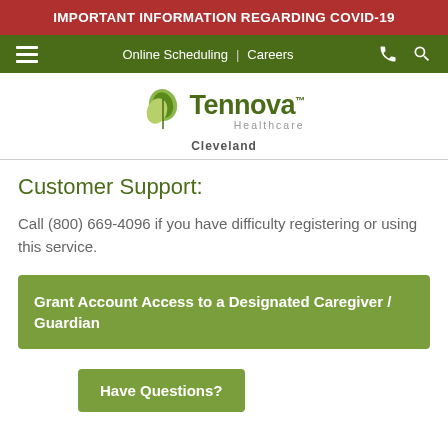IMPORTANT INFORMATION REGARDING COVID-19
[Figure (screenshot): Tennova Healthcare navigation bar with hamburger menu, Online Scheduling, Careers links, phone and search icons on dark green background]
[Figure (logo): Tennova Healthcare Cleveland logo with green leaf icon]
Customer Support:
Call (800) 669-4096 if you have difficulty registering or using this service.
Grant Account Access to a Designated Caregiver / Guardian
Have Questions?